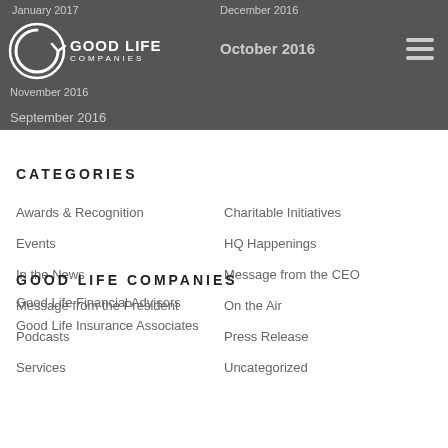January 2017  December 2016  November 2016  October 2016  September 2016
[Figure (logo): Good Life Companies logo — circular arrow icon with 'Good Life Companies' text]
CATEGORIES
Awards & Recognition
Charitable Initiatives
Events
HQ Happenings
In the News
Message from the CEO
Message from the President
On the Air
Podcasts
Press Release
Services
Uncategorized
GOOD LIFE COMPANIES
Good Life Financial Advisors
Good Life Insurance Associates